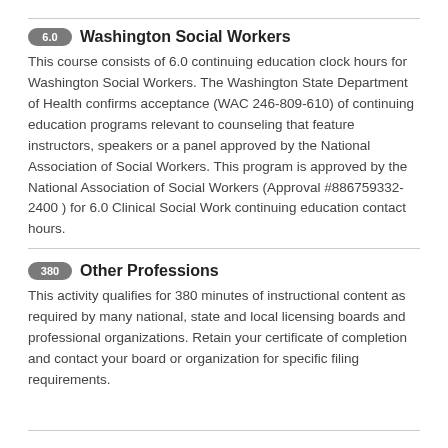6.0 Washington Social Workers
This course consists of 6.0 continuing education clock hours for Washington Social Workers. The Washington State Department of Health confirms acceptance (WAC 246-809-610) of continuing education programs relevant to counseling that feature instructors, speakers or a panel approved by the National Association of Social Workers. This program is approved by the National Association of Social Workers (Approval #886759332-2400 ) for 6.0 Clinical Social Work continuing education contact hours.
380 Other Professions
This activity qualifies for 380 minutes of instructional content as required by many national, state and local licensing boards and professional organizations. Retain your certificate of completion and contact your board or organization for specific filing requirements.